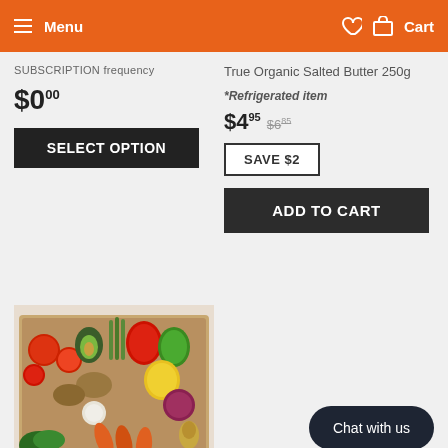Menu  Cart
SUBSCRIPTION frequency
$0.00
SELECT OPTION
True Organic Salted Butter 250g
*Refrigerated item
$4.95  $6.85
SAVE $2
ADD TO CART
[Figure (photo): A wooden crate filled with fresh vegetables including tomatoes, avocado, asparagus, peppers, potatoes, garlic, onions, carrots and other produce]
Chat with us